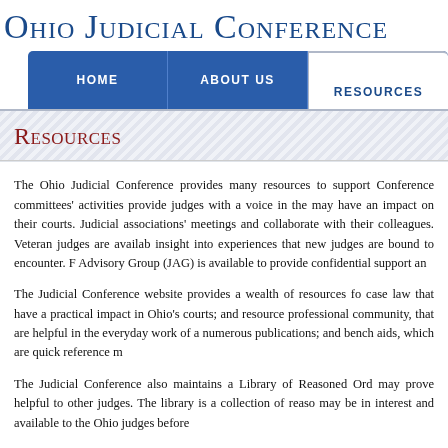Ohio Judicial Conference
Resources
The Ohio Judicial Conference provides many resources to support Conference committees' activities provide judges with a voice in the may have an impact on their courts. Judicial associations' meetings and collaborate with their colleagues. Veteran judges are available insight into experiences that new judges are bound to encounter. F Advisory Group (JAG) is available to provide confidential support an
The Judicial Conference website provides a wealth of resources fo case law that have a practical impact in Ohio's courts; and resource professional community, that are helpful in the everyday work of a numerous publications; and bench aids, which are quick reference m
The Judicial Conference also maintains a Library of Reasoned Ord may prove helpful to other judges. The library is a collection of reaso may be in interest and available to the Ohio judges before